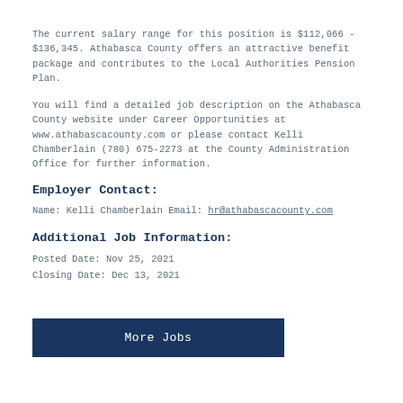The current salary range for this position is $112,066 - $136,345. Athabasca County offers an attractive benefit package and contributes to the Local Authorities Pension Plan.
You will find a detailed job description on the Athabasca County website under Career Opportunities at www.athabascacounty.com or please contact Kelli Chamberlain (780) 675-2273 at the County Administration Office for further information.
Employer Contact:
Name: Kelli Chamberlain Email: hr@athabascacounty.com
Additional Job Information:
Posted Date: Nov 25, 2021
Closing Date: Dec 13, 2021
More Jobs